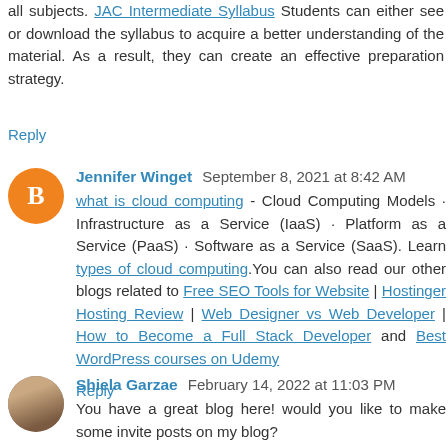all subjects. JAC Intermediate Syllabus Students can either see or download the syllabus to acquire a better understanding of the material. As a result, they can create an effective preparation strategy.
Reply
Jennifer Winget September 8, 2021 at 8:42 AM
what is cloud computing - Cloud Computing Models · Infrastructure as a Service (IaaS) · Platform as a Service (PaaS) · Software as a Service (SaaS). Learn types of cloud computing.You can also read our other blogs related to Free SEO Tools for Website | Hostinger Hosting Review | Web Designer vs Web Developer | How to Become a Full Stack Developer and Best WordPress courses on Udemy
Reply
Shiela Garzae February 14, 2022 at 11:03 PM
You have a great blog here! would you like to make some invite posts on my blog?